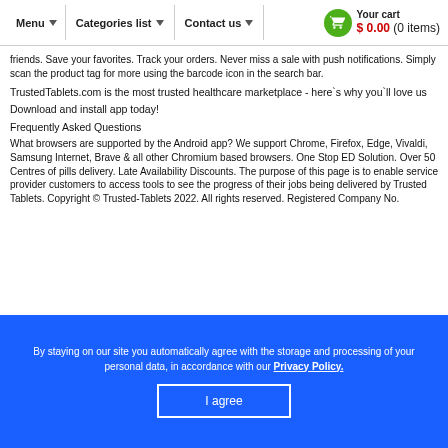Menu ▾   Categories list ▾   Contact us ▾   Your cart $0.00 (0 items)
friends. Save your favorites. Track your orders. Never miss a sale with push notifications. Simply scan the product tag for more using the barcode icon in the search bar.
TrustedTablets.com is the most trusted healthcare marketplace - here`s why you`ll love us
Download and install app today!
Frequently Asked Questions
What browsers are supported by the Android app? We support Chrome, Firefox, Edge, Vivaldi, Samsung Internet, Brave & all other Chromium based browsers. One Stop ED Solution. Over 50 Centres of pills delivery. Late Availability Discounts. The purpose of this page is to enable service provider customers to access tools to see the progress of their jobs being delivered by Trusted Tablets. Copyright © Trusted-Tablets 2022. All rights reserved. Registered Company No.
By staying on our site you automatically agree with the storage and processing of your personal data, in accordance with our Privacy Policy.
I agree